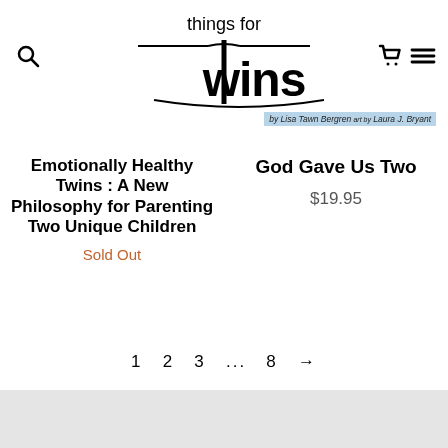[Figure (logo): Things for Twins logo with stylized T and 'twins' text]
[Figure (other): Book tag: 'by Lisa Tawn Bergren art by Laura J. Bryant' on blue background]
Emotionally Healthy Twins : A New Philosophy for Parenting Two Unique Children
Sold Out
God Gave Us Two
$19.95
1 2 3 ... 8 →